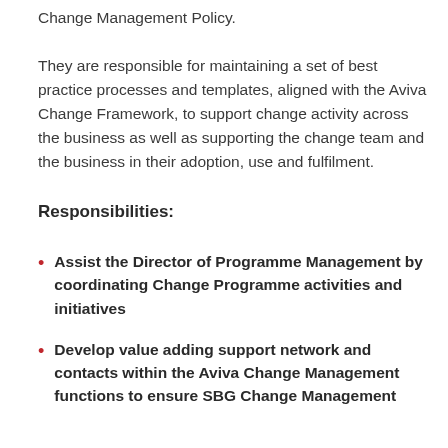Change Management Policy.
They are responsible for maintaining a set of best practice processes and templates, aligned with the Aviva Change Framework, to support change activity across the business as well as supporting the change team and the business in their adoption, use and fulfilment.
Responsibilities:
Assist the Director of Programme Management by coordinating Change Programme activities and initiatives
Develop value adding support network and contacts within the Aviva Change Management functions to ensure SBG Change Management